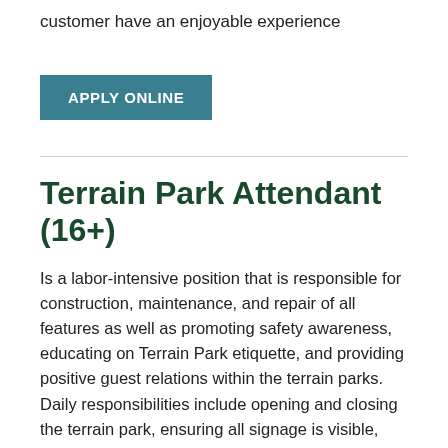customer have an enjoyable experience
APPLY ONLINE
Terrain Park Attendant (16+)
Is a labor-intensive position that is responsible for construction, maintenance, and repair of all features as well as promoting safety awareness, educating on Terrain Park etiquette, and providing positive guest relations within the terrain parks. Daily responsibilities include opening and closing the terrain park, ensuring all signage is visible, testing features and assessing risk and liability each morning.  The Terrain Park Attendant will provide exceptional guest service and work outdoors in all